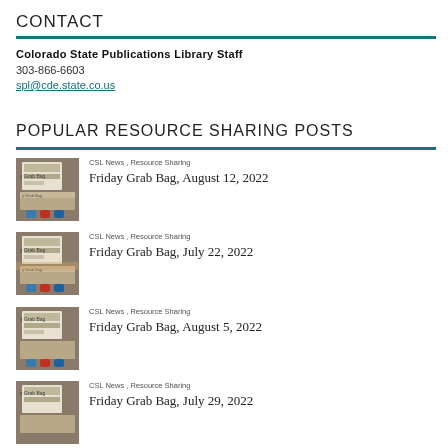CONTACT
Colorado State Publications Library Staff
303-866-6603
spl@cde.state.co.us
POPULAR RESOURCE SHARING POSTS
[Figure (photo): Thumbnail image of Friday Grab Bag publication]
CSL News , Resource Sharing
Friday Grab Bag, August 12, 2022
[Figure (photo): Thumbnail image of Friday Grab Bag publication]
CSL News , Resource Sharing
Friday Grab Bag, July 22, 2022
[Figure (photo): Thumbnail image of Friday Grab Bag publication]
CSL News , Resource Sharing
Friday Grab Bag, August 5, 2022
[Figure (photo): Thumbnail image of Friday Grab Bag publication]
CSL News , Resource Sharing
Friday Grab Bag, July 29, 2022